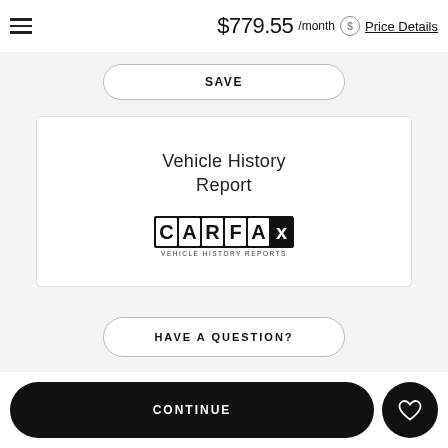$779.55 /month  Price Details
SAVE
[Figure (other): Vehicle History Report section with CARFAX logo. Shows 'Vehicle History Report' text above a CARFAX VEHICLE HISTORY REPORTS logo in a white card with border.]
HAVE A QUESTION?
Call
CONTINUE